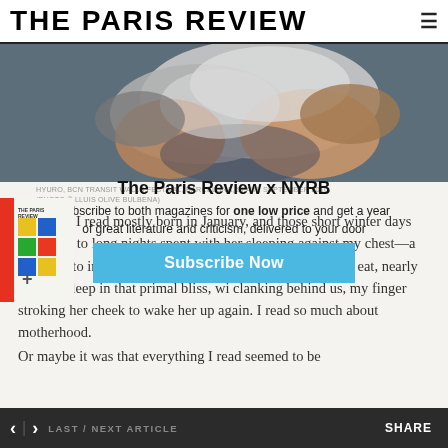THE PARIS REVIEW
[Figure (photo): Painting or mural detail showing a figure, possibly gripping/embracing, painted in grays, whites, and warm tones on a dark background — part of a street mural.]
HYURO, BCN TRANSIT WALLS FESTIVAL, BARCELONA, SPAIN, SEPTEMBER 2016. (PHOTO © LLUIS OLIVE BULBENA)
This year I read mostly born in January, and those short winter days gave way to long nights spent with her sleeping against my chest—a tiny burrito in zip-up p against my neck—or waking up to eat, nearly falling asleep in that primal bliss, wi clanking behind us, my finger stroking her cheek to wake her up again. I read so much about motherhood.
Or maybe it was that everything I read seemed to be
[Figure (illustration): Book cover thumbnail for The Paris Review, colorful geometric design]
The Paris Review x NYRB
Subscribe to both magazines for one low price and get a year of great literature and criticism, delivered to your door
Subscribe Now
< > LAST / NEXT ARTICLE    SHARE